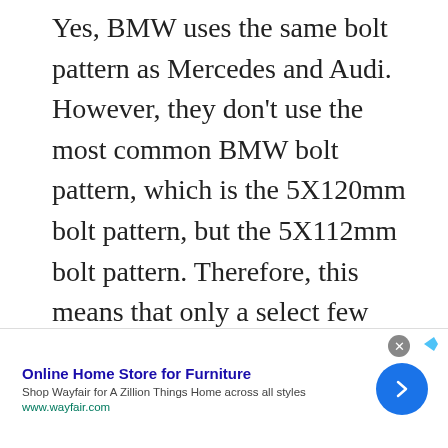Yes, BMW uses the same bolt pattern as Mercedes and Audi. However, they don't use the most common BMW bolt pattern, which is the 5X120mm bolt pattern, but the 5X112mm bolt pattern. Therefore, this means that only a select few wheels can be fitted from BMW to Audi or Mercedes.
[Figure (other): Advertisement banner for Wayfair online furniture store with title 'Online Home Store for Furniture', subtitle 'Shop Wayfair for A Zillion Things Home across all styles', URL 'www.wayfair.com', a blue circular arrow button, and a close (X) button.]